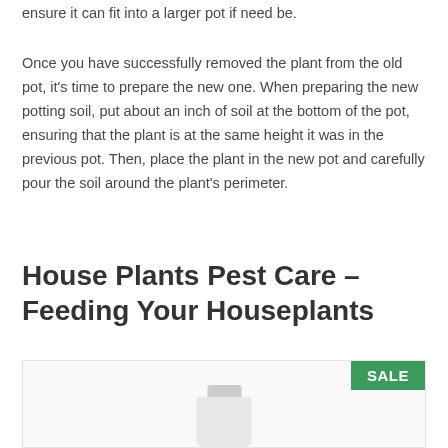ensure it can fit into a larger pot if need be.
Once you have successfully removed the plant from the old pot, it's time to prepare the new one. When preparing the new potting soil, put about an inch of soil at the bottom of the pot, ensuring that the plant is at the same height it was in the previous pot. Then, place the plant in the new pot and carefully pour the soil around the plant's perimeter.
House Plants Pest Care – Feeding Your Houseplants
[Figure (photo): Product image showing a bottle with a cap, with a green SALE badge in the top right corner]